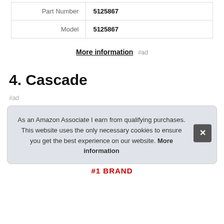| Part Number | 5125867 |
| Model | 5125867 |
More information #ad
4. Cascade
#ad
As an Amazon Associate I earn from qualifying purchases. This website uses the only necessary cookies to ensure you get the best experience on our website. More information